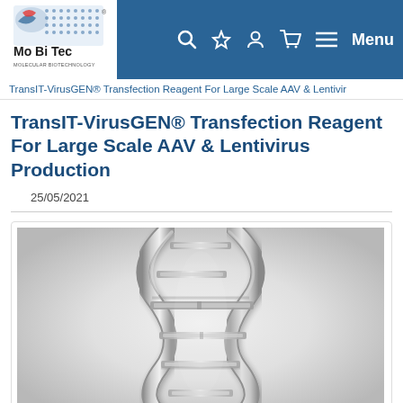Mo Bi Tec - Molecular Biotechnology - Navigation bar with search, favorites, account, cart, and menu icons
TransIT-VirusGEN® Transfection Reagent For Large Scale AAV & Lentivir...
TransIT-VirusGEN® Transfection Reagent For Large Scale AAV & Lentivirus Production
25/05/2021
[Figure (illustration): 3D rendered silver/metallic DNA double helix on a light grey gradient background]